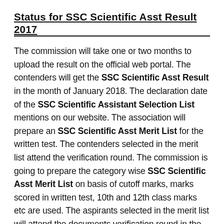Status for SSC Scientific Asst Result 2017
The commission will take one or two months to upload the result on the official web portal. The contenders will get the SSC Scientific Asst Result in the month of January 2018. The declaration date of the SSC Scientific Assistant Selection List mentions on our website. The association will prepare an SSC Scientific Asst Merit List for the written test. The contenders selected in the merit list attend the verification round. The commission is going to prepare the category wise SSC Scientific Asst Merit List on basis of cutoff marks, marks scored in written test, 10th and 12th class marks etc are used. The aspirants selected in the merit list will attend the documents verification round in the month of January 2018. The SSC Scientific Asst…